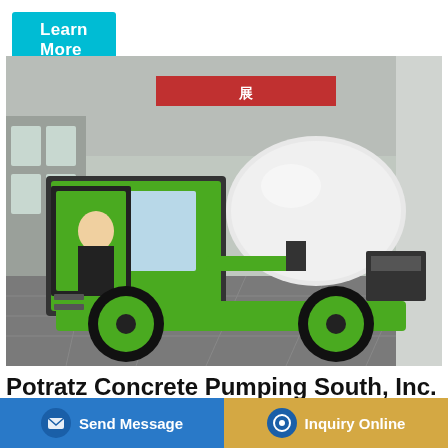Learn More
[Figure (photo): A green concrete mixer truck (self-loading type) parked inside a large industrial exhibition hall. A man in a dark suit is seated in the open cab. The truck has large green wheels and a white drum mixer at the rear.]
Potratz Concrete Pumping South, Inc. - Home | Facebook
Potratz Concrete Pumping South, Inc. Company · Cherokee... Chemical... Concrete Pumping Inc. · Southwest Concrete Pumping & ...
Send Message
Inquiry Online